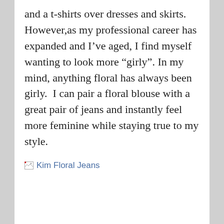and a t-shirts over dresses and skirts.  However,as my professional career has expanded and I've aged, I find myself wanting to look more “girly”. In my mind, anything floral has always been girly.  I can pair a floral blouse with a great pair of jeans and instantly feel more feminine while staying true to my style.
[Figure (photo): Broken image placeholder labeled 'Kim Floral Jeans']